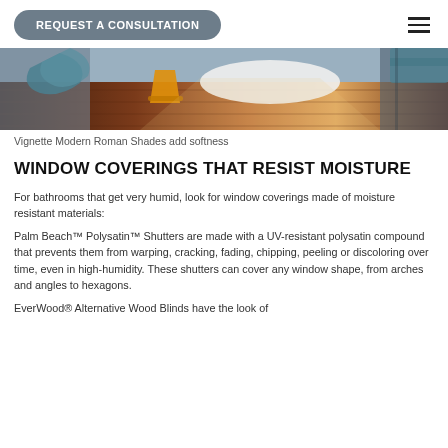REQUEST A CONSULTATION
[Figure (photo): Bathroom interior with wooden floor, bathtub, draped teal towels and natural light coming through windows with Roman shades]
Vignette Modern Roman Shades add softness
WINDOW COVERINGS THAT RESIST MOISTURE
For bathrooms that get very humid, look for window coverings made of moisture resistant materials:
Palm Beach™ Polysatin™ Shutters are made with a UV-resistant polysatin compound that prevents them from warping, cracking, fading, chipping, peeling or discoloring over time, even in high-humidity. These shutters can cover any window shape, from arches and angles to hexagons.
EverWood® Alternative Wood Blinds have the look of